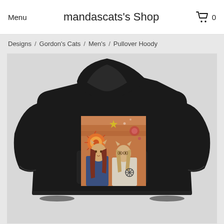Menu  mandascats's Shop  0
Designs / Gordon's Cats / Men's / Pullover Hoody
[Figure (photo): Black pullover hoody displayed from the back, featuring a colorful artwork print on the back panel showing two cat-eared figures with a warm reddish-orange background with stars and circular sun-like design elements.]